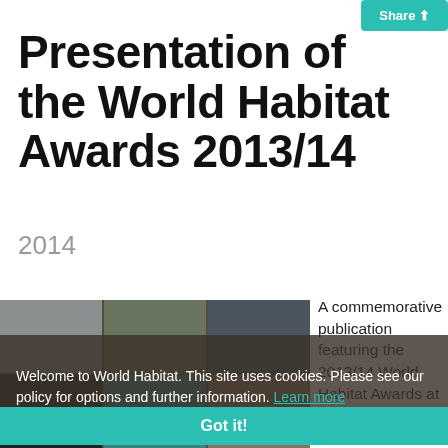Share
Presentation of the World Habitat Awards 2013/14
2014
[Figure (photo): Photo mosaic of World Habitat Awards event images]
Welcome to World Habitat. This site uses cookies. Please see our policy for options and further information. Learn more
Got it!
A commemorative publication featuring the 2013/14 World Habitat Awards at the closing ceremony of the Seventh World Urban Forum in Medellín, Colombia,